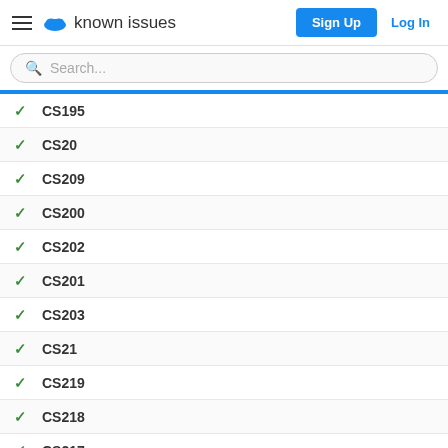known issues — Sign Up | Log In
Search...
CS195
CS20
CS209
CS200
CS202
CS201
CS203
CS21
CS219
CS218
CS217
CS216
CS215
CS214
CS213
CS212